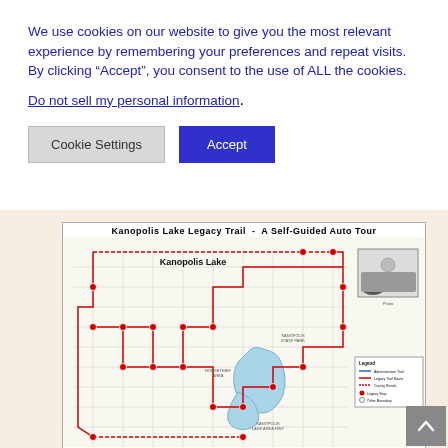We use cookies on our website to give you the most relevant experience by remembering your preferences and repeat visits. By clicking “Accept”, you consent to the use of ALL the cookies.
Do not sell my personal information.
[Figure (map): Kanopolis Lake Legacy Trail - A Self-Guided Auto Tour. A road map showing the trail route around Kanopolis Lake in Kansas, with numbered stops marked as red dots, a legend, and a small inset photo.]